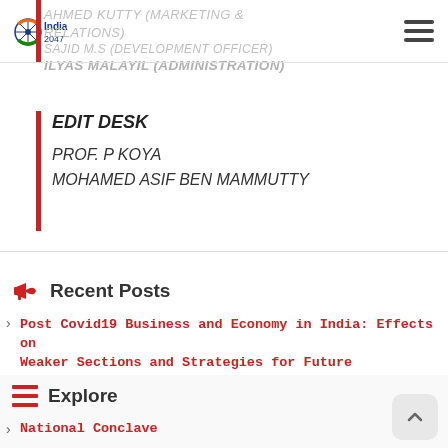India 2047
AHMED KUTTY (MARKETING & RELATIONS)
SAJID M.S (DEVELOPMENT OFFICER)
ILYAS MALAYIL (ADMINISTRATION)
EDIT DESK
PROF. P KOYA
MOHAMED ASIF BEN MAMMUTTY
Recent Posts
Post Covid19 Business and Economy in India: Effects on Weaker Sections and Strategies for Future
Explore
National Conclave